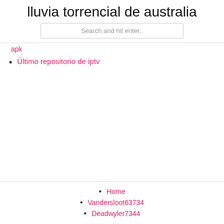lluvia torrencial de australia
Search and hit enter..
apk
Último repositorio de iptv
Home
Vandersloot63734
Deadwyler7344